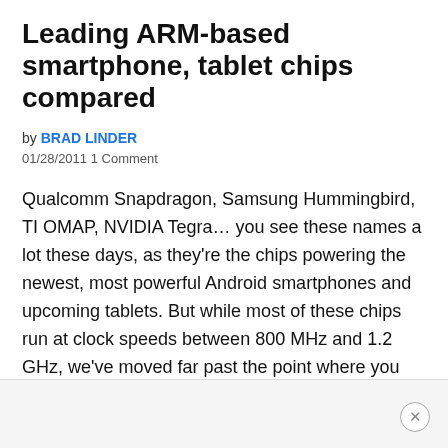Leading ARM-based smartphone, tablet chips compared
by BRAD LINDER
01/28/2011 1 Comment
Qualcomm Snapdragon, Samsung Hummingbird, TI OMAP, NVIDIA Tegra… you see these names a lot these days, as they're the chips powering the newest, most powerful Android smartphones and upcoming tablets. But while most of these chips run at clock speeds between 800 MHz and 1.2 GHz, we've moved far past the point where you can […]